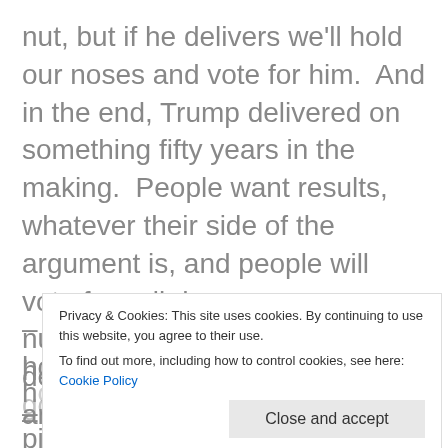nut, but if he delivers we'll hold our noses and vote for him.  And in the end, Trump delivered on something fifty years in the making.  People want results, whatever their side of the argument is, and people will vote for evil demagogues or nutcases, as long as they deliver.  History shows it, time and time again.
– Conversely, for the Democrats how should they feel?  Trump is gone, they own both
y
picked Trump instead.  Don't be surprised if
Privacy & Cookies: This site uses cookies. By continuing to use this website, you agree to their use.
To find out more, including how to control cookies, see here: Cookie Policy